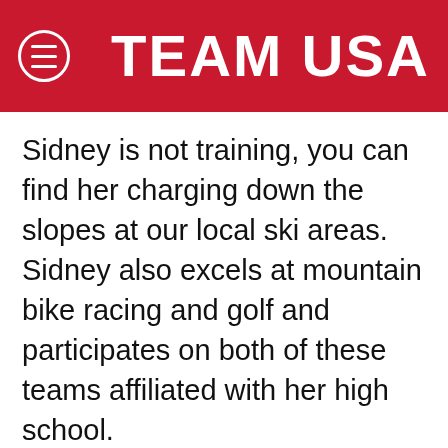TEAM USA
Sidney is not training, you can find her charging down the slopes at our local ski areas. Sidney also excels at mountain bike racing and golf and participates on both of these teams affiliated with her high school.